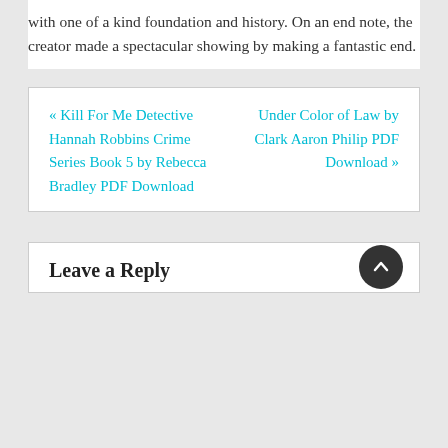with one of a kind foundation and history. On an end note, the creator made a spectacular showing by making a fantastic end.
« Kill For Me Detective Hannah Robbins Crime Series Book 5 by Rebecca Bradley PDF Download

Under Color of Law by Clark Aaron Philip PDF Download »
Leave a Reply